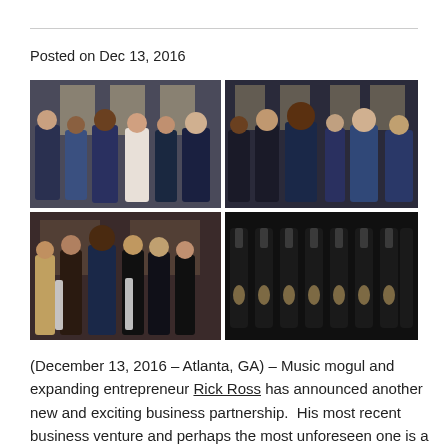Posted on Dec 13, 2016
[Figure (photo): Four event photos in a 2x2 grid showing Rick Ross and partners at a business event with bottles of champagne/spirits]
(December 13, 2016 – Atlanta, GA) – Music mogul and expanding entrepreneur Rick Ross has announced another new and exciting business partnership.  His most recent business venture and perhaps the most unforeseen one is a close partnership with